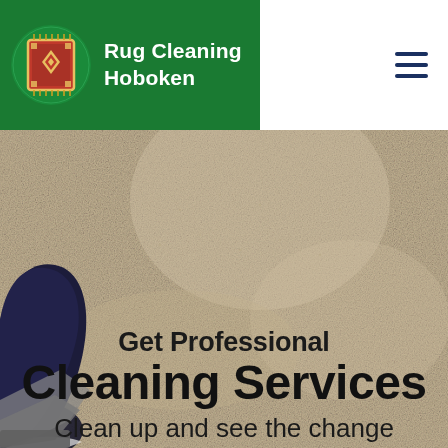[Figure (logo): Rug Cleaning Hoboken logo — green circle with decorative rug/carpet icon inside, white text 'Rug Cleaning Hoboken' on green background bar]
[Figure (photo): Background photo of beige/cream carpet texture with a dark blue sneaker/shoe visible on the left side and what appears to be a vacuum cleaner edge at bottom left]
Get Professional Cleaning Services
Clean up and see the change